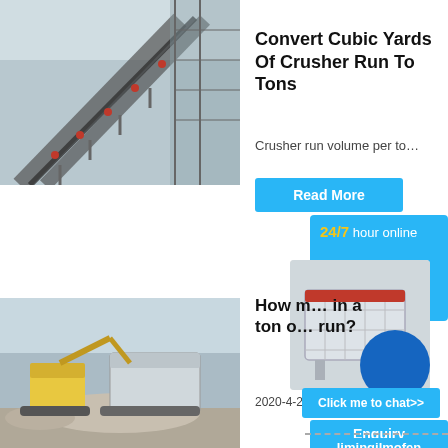[Figure (photo): Aerial view of a conveyor belt system at a stone crusher facility]
Convert Cubic Yards Of Crusher Run To Tons
Crusher run volume per to…
Read More
24/7 hour online
[Figure (photo): Industrial crusher machine]
Click me to chat>>
[Figure (photo): Excavator and mobile crusher at work site]
How ma… in a ton o… run?
2020-4-2…
Enquiry
Read
limingjlmofen